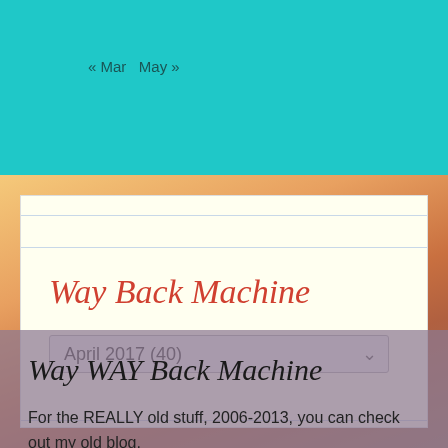« Mar   May »
Way Back Machine
April 2017  (40)
Way WAY Back Machine
For the REALLY old stuff, 2006-2013, you can check out my old blog.